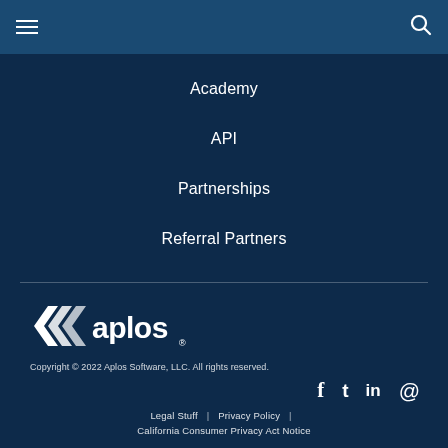[Figure (screenshot): Top navigation bar with hamburger menu icon on left and search icon on right, dark blue background]
Academy
API
Partnerships
Referral Partners
[Figure (logo): Aplos logo with geometric triangular arrow icon and 'aplos' wordmark in white, registered trademark symbol]
Copyright © 2022 Aplos Software, LLC. All rights reserved.
[Figure (other): Social media icons: Facebook (f), Twitter (t), LinkedIn (in), Email (@)]
Legal Stuff | Privacy Policy | California Consumer Privacy Act Notice